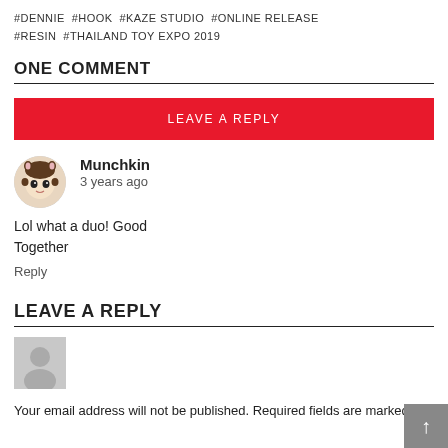#DENNIE #HOOK #KAZE STUDIO #ONLINE RELEASE #RESIN #THAILAND TOY EXPO 2019
ONE COMMENT
LEAVE A REPLY
Munchkin
3 years ago
Lol what a duo! Good Together
Reply
LEAVE A REPLY
Your email address will not be published. Required fields are marked